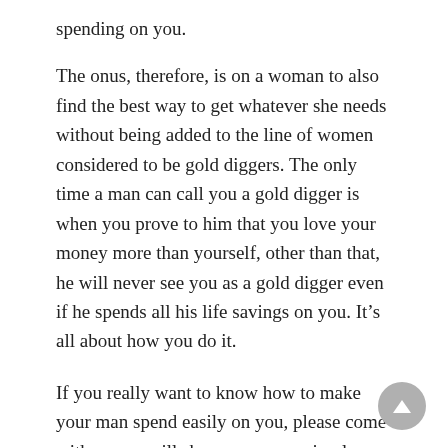spending on you.
The onus, therefore, is on a woman to also find the best way to get whatever she needs without being added to the line of women considered to be gold diggers. The only time a man can call you a gold digger is when you prove to him that you love your money more than yourself, other than that, he will never see you as a gold digger even if he spends all his life savings on you. It’s all about how you do it.
If you really want to know how to make your man spend easily on you, please come with us, we will show you some simple ways to get it unconsciously.
1. Be Faithful